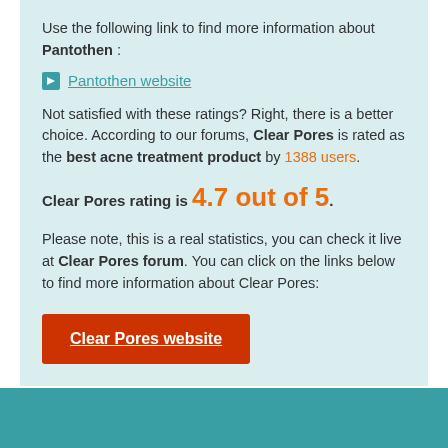Use the following link to find more information about Pantothen :
Pantothen website
Not satisfied with these ratings? Right, there is a better choice. According to our forums, Clear Pores is rated as the best acne treatment product by 1388 users.
Clear Pores rating is 4.7 out of 5.
Please note, this is a real statistics, you can check it live at Clear Pores forum. You can click on the links below to find more information about Clear Pores:
Clear Pores website
Copyright © 2008 – 2022 Acne Products Vote.com. All Rights Reserved